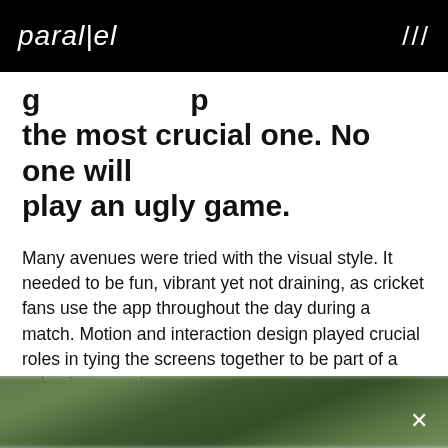parallel   ///
…g… …p… the most crucial one. No one will play an ugly game.
Many avenues were tried with the visual style. It needed to be fun, vibrant yet not draining, as cricket fans use the app throughout the day during a match. Motion and interaction design played crucial roles in tying the screens together to be part of a cohesive experience.
[Figure (photo): Blurred green outdoor/cricket field background image strip at the bottom of the page with a close (×) button in the top-right corner of the image.]